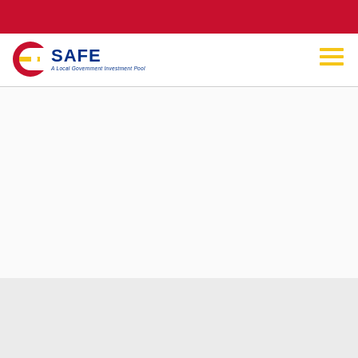[Figure (logo): CSAFE - A Local Government Investment Pool logo with Colorado C icon in red, white and yellow, and SAFE text in blue]
[Figure (other): Hamburger menu icon with three yellow horizontal lines]